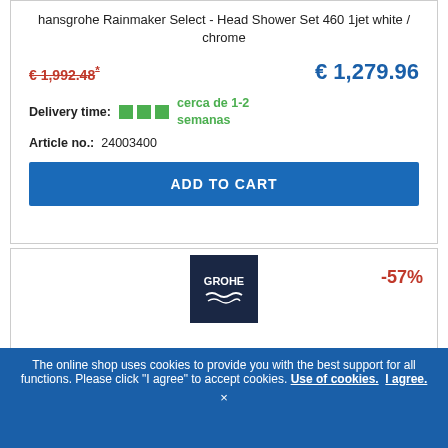hansgrohe Rainmaker Select - Head Shower Set 460 1jet white / chrome
€ 1,992.48* (strikethrough, red) | € 1,279.96 (blue, large)
Delivery time: cerca de 1-2 semanas
Article no.: 24003400
ADD TO CART
[Figure (logo): GROHE brand logo on dark navy background with wave design]
-57%
[Figure (photo): Shower head with arm, chrome finish, wall-mounted overhead shower]
The online shop uses cookies to provide you with the best support for all functions. Please click "I agree" to accept cookies. Use of cookies. I agree. ×